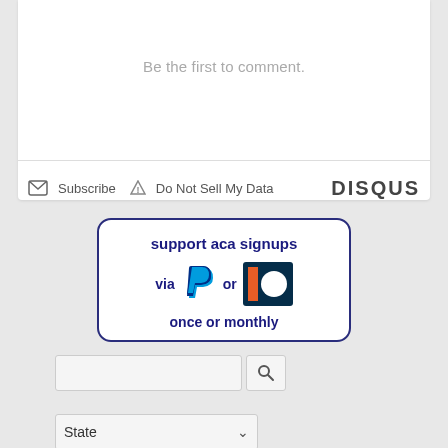Be the first to comment.
[Figure (screenshot): Disqus comment section footer with Subscribe and Do Not Sell My Data links, and DISQUS branding]
[Figure (infographic): Support ACA signups banner with PayPal and Patreon logos, text: support aca signups via [PayPal] or [Patreon] once or monthly]
[Figure (screenshot): Search input field with search button magnifying glass icon]
[Figure (screenshot): State dropdown selector]